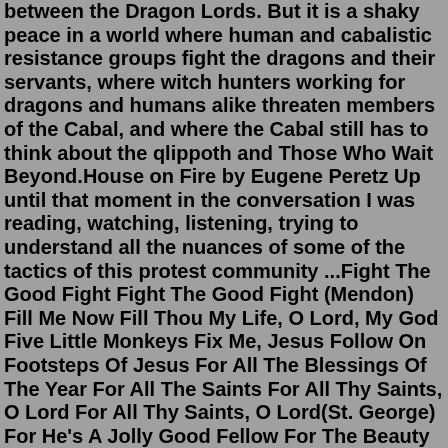between the Dragon Lords. But it is a shaky peace in a world where human and cabalistic resistance groups fight the dragons and their servants, where witch hunters working for dragons and humans alike threaten members of the Cabal, and where the Cabal still has to think about the qlippoth and Those Who Wait Beyond.House on Fire by Eugene Peretz Up until that moment in the conversation I was reading, watching, listening, trying to understand all the nuances of some of the tactics of this protest community ...Fight The Good Fight Fight The Good Fight (Mendon) Fill Me Now Fill Thou My Life, O Lord, My God Five Little Monkeys Fix Me, Jesus Follow On Footsteps Of Jesus For All The Blessings Of The Year For All The Saints For All Thy Saints, O Lord For All Thy Saints, O Lord(St. George) For He's A Jolly Good Fellow For The Beauty Of The Earth50 Pastors fired from Mountain of Fire Ministries for embezzling church funds Published on August 22, 2012 By Ifreke Inyang The unimaginable corruption and other forms of misdemeanour that...It is the path